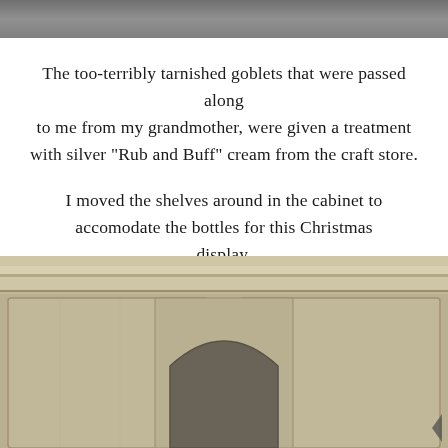[Figure (photo): Top portion of a photo, gray/silver tones, appears to be a decorative object or furniture piece cropped at top]
The too-terribly tarnished goblets that were passed along to me from my grandmother, were given a treatment with silver "Rub and Buff" cream from the craft store.
I moved the shelves around in the cabinet to accomodate the bottles for this Christmas display.
[Figure (photo): Bottom portion of a photo showing a rustic whitewashed wooden cabinet with decorative molding and an arched detail at the bottom]